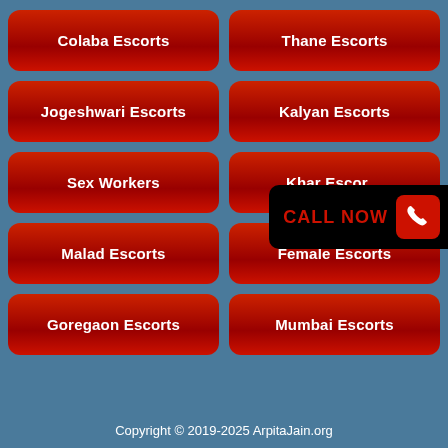[Figure (screenshot): Grid of red rounded buttons with escort service links on a blue-gray background. Row 1: Colaba Escorts, Thane Escorts. Row 2: Jogeshwari Escorts, Kalyan Escorts. Row 3: Sex Workers, Khar Escorts (partially obscured by Call Now overlay). Row 4: Malad Escorts, Female Escorts. Row 5: Goregaon Escorts, Mumbai Escorts. A black 'CALL NOW' banner with red phone icon overlays the right side.]
Copyright © 2019-2025 ArpitaJain.org